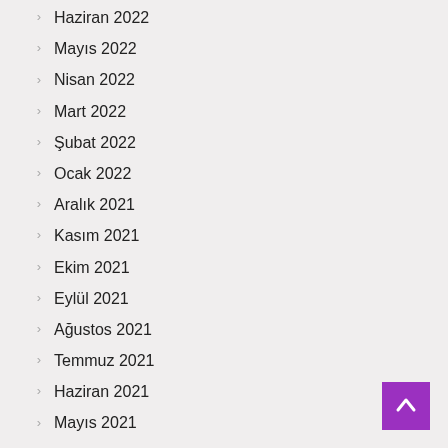Haziran 2022
Mayıs 2022
Nisan 2022
Mart 2022
Şubat 2022
Ocak 2022
Aralık 2021
Kasım 2021
Ekim 2021
Eylül 2021
Ağustos 2021
Temmuz 2021
Haziran 2021
Mayıs 2021
Nisan 2021
Mart 2021
Şubat 2021
Ocak 2021
Aralık 2020